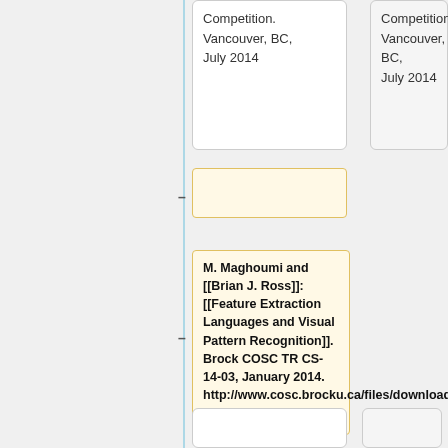Competition. Vancouver, BC, July 2014
Competition. Vancouver, BC, July 2014
M. Maghoumi and [[Brian J. Ross]]: [[Feature Extraction Languages and Visual Pattern Recognition]]. Brock COSC TR CS-14-03, January 2014. http://www.cosc.brocku.ca/files/downloads/research/cs1403.pdf